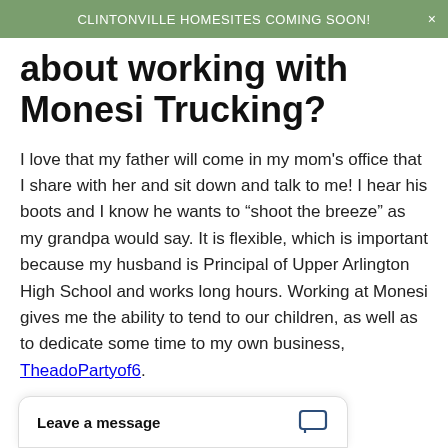CLINTONVILLE HOMESITES COMING SOON!
about working with Monesi Trucking?
I love that my father will come in my mom's office that I share with her and sit down and talk to me! I hear his boots and I know he wants to “shoot the breeze” as my grandpa would say. It is flexible, which is important because my husband is Principal of Upper Arlington High School and works long hours. Working at Monesi gives me the ability to tend to our children, as well as to dedicate some time to my own business, TheadoPartyof6.
Leave a message